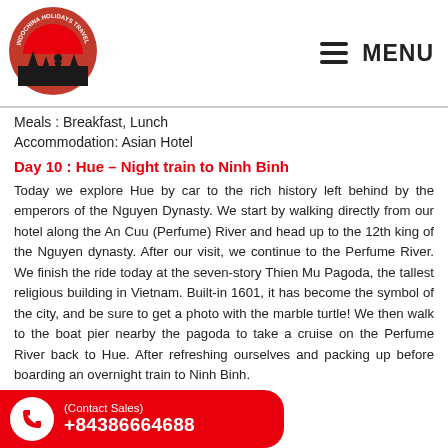[Figure (logo): Indochina Holidays Travel circular logo with red background, silhouette of travelers/cyclists, and text around the border]
≡ MENU
Meals : Breakfast, Lunch
Accommodation: Asian Hotel
Day 10 : Hue – Night train to Ninh Binh
Today we explore Hue by car to the rich history left behind by the emperors of the Nguyen Dynasty. We start by walking directly from our hotel along the An Cuu (Perfume) River and head up to the 12th king of the Nguyen dynasty. After our visit, we continue to the Perfume River. We finish the ride today at the seven-story Thien Mu Pagoda, the tallest religious building in Vietnam. Built-in 1601, it has become the symbol of the city, and be sure to get a photo with the marble turtle! We then walk to the boat pier nearby the pagoda to take a cruise on the Perfume River back to Hue. After refreshing ourselves and packing up before boarding an overnight train to Ninh Binh.
Summary
(Contact Sales)
+84386664688